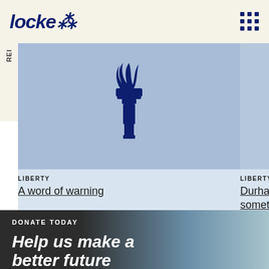locke
[Figure (illustration): Locke Foundation torch logo on light blue background]
REI
LIBERTY
A word of warning
LIBERTY
Durham somethi
DONATE TODAY
Help us make a better future